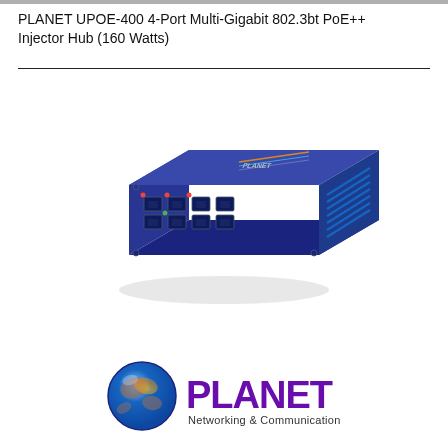PLANET UPOE-400 4-Port Multi-Gigabit 802.3bt PoE++ Injector Hub (160 Watts)
[Figure (photo): PLANET UPOE-400 dark blue PoE++ injector hub with 8 RJ45 ports on the front and ventilation slots on the right side, viewed from an isometric angle.]
[Figure (logo): PLANET Networking & Communication logo with globe icon on the left and purple PLANET text on the right, with tagline 'Networking & Communication']